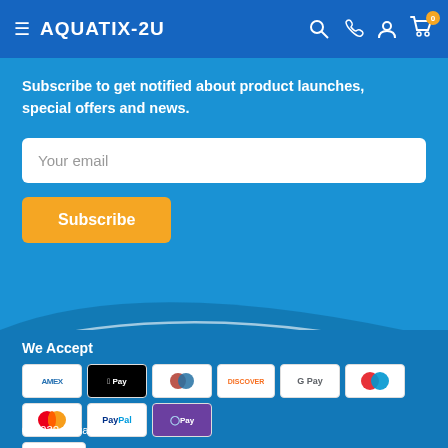AQUATIX-2U
Subscribe to get notified about product launches, special offers and news.
[Figure (screenshot): Email input field with placeholder 'Your email']
[Figure (illustration): Orange Subscribe button]
We Accept
[Figure (illustration): Payment method icons: AMEX, Apple Pay, Diners, Discover, Google Pay, Maestro, Mastercard, PayPal, OPay, VISA]
© 2022 Aquatix-2u